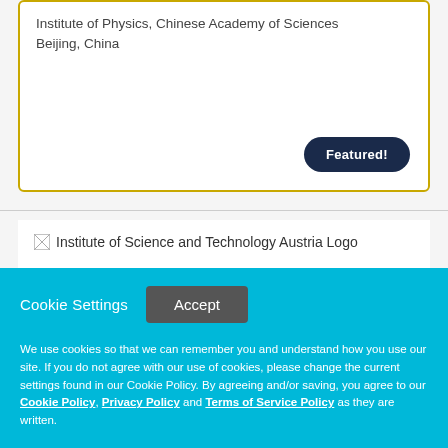Institute of Physics, Chinese Academy of Sciences
Beijing, China
Featured!
[Figure (logo): Institute of Science and Technology Austria Logo]
Assistant Professor (tenure-track) and Professor positions in Physics
Cookie Settings
Accept
We use cookies so that we can remember you and understand how you use our site. If you do not agree with our use of cookies, please change the current settings found in our Cookie Policy. By agreeing and/or saving, you agree to our Cookie Policy, Privacy Policy and Terms of Service Policy as they are written.